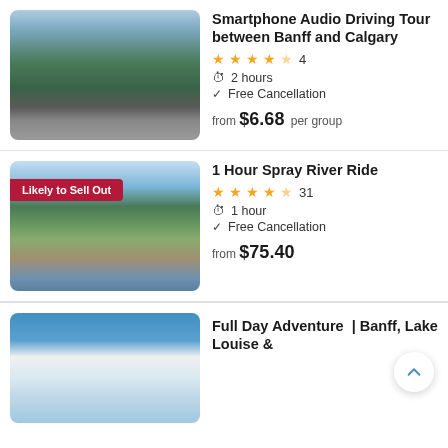[Figure (photo): Snow-capped mountain with evergreen forest and winding road]
Smartphone Audio Driving Tour between Banff and Calgary
★★★★½ 4 | 2 hours | Free Cancellation | from $6.68 per group
[Figure (photo): Horses crossing a river with mountains and forest in background, badge: Likely to Sell Out]
1 Hour Spray River Ride
★★★★½ 31 | 1 hour | Free Cancellation | from $75.40
[Figure (photo): Snowy adventure landscape with blue sky]
Full Day Adventure | Banff, Lake Louise &